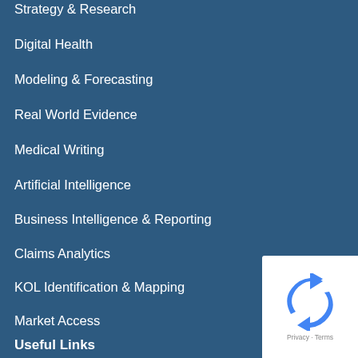Strategy & Research
Digital Health
Modeling & Forecasting
Real World Evidence
Medical Writing
Artificial Intelligence
Business Intelligence & Reporting
Claims Analytics
KOL Identification & Mapping
Market Access
Useful Links
About Us
[Figure (logo): reCAPTCHA badge with recycling-style arrow logo, Privacy and Terms text]